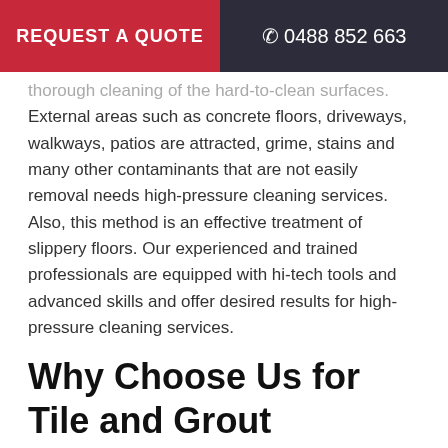REQUEST A QUOTE   ☎ 0488 852 663
thorough cleaning of the hard-to-clean surfaces. External areas such as concrete floors, driveways, walkways, patios are attracted, grime, stains and many other contaminants that are not easily removal needs high-pressure cleaning services. Also, this method is an effective treatment of slippery floors. Our experienced and trained professionals are equipped with hi-tech tools and advanced skills and offer desired results for high-pressure cleaning services.
Why Choose Us for Tile and Grout Cleaning Parklea?
With hundreds of companies offering similar services, why would you choose us? Simply because we at Magic